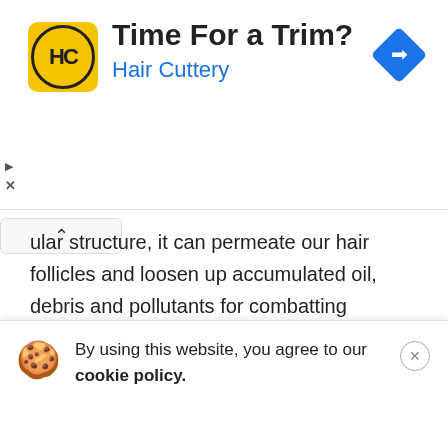[Figure (advertisement): Hair Cuttery ad banner with yellow logo showing HC initials, headline 'Time For a Trim?' and blue subtitle 'Hair Cuttery', with a blue diamond navigation arrow on the right]
ular structure, it can permeate our hair follicles and loosen up accumulated oil, debris and pollutants for combatting congestion and hence, breakouts.
Rich with Althaea Officinalis (Marshmallow) leaf/root extract. Its high levels of bioactive compounds (polysaccharides and flavonoids) possess emollient and therapeutic properties. It helps promote moisture retention, balance the acid mantle and relieve irritation or redness. Therefore, the Marshmallow extract thwarts the p... t...
By using this website, you agree to our cookie policy.